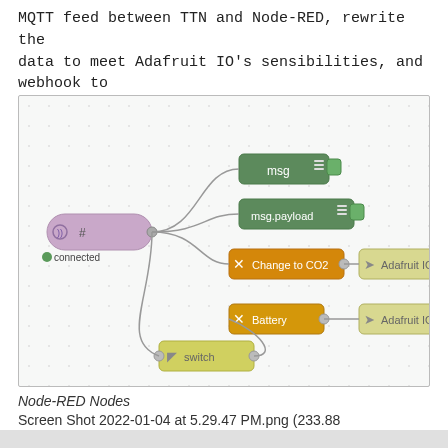MQTT feed between TTN and Node-RED, rewrite the data to meet Adafruit IO's sensibilities, and webhook to feed it to IO....
[Figure (flowchart): Node-RED flow diagram showing an MQTT node (#, connected) branching to: msg debug node, msg.payload debug node, Change to CO2 function node connected to Adafruit IO post node, Battery function node connected to Adafruit IO post node, and a switch node at the bottom.]
Node-RED Nodes
Screen Shot 2022-01-04 at 5.29.47 PM.png (233.88 KiB) Viewed 597 times
Rewrite logic...